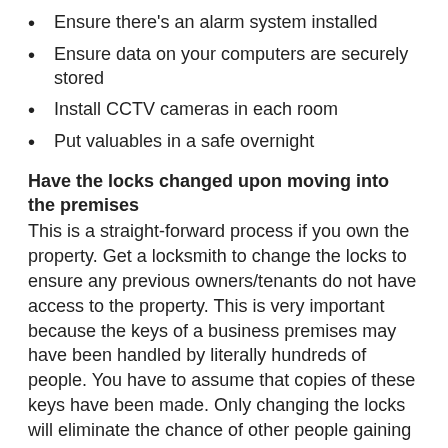Ensure there's an alarm system installed
Ensure data on your computers are securely stored
Install CCTV cameras in each room
Put valuables in a safe overnight
Have the locks changed upon moving into the premises
This is a straight-forward process if you own the property. Get a locksmith to change the locks to ensure any previous owners/tenants do not have access to the property. This is very important because the keys of a business premises may have been handled by literally hundreds of people. You have to assume that copies of these keys have been made. Only changing the locks will eliminate the chance of other people gaining access to your office via copied keys. If you are renting the property, request the landlord change the locks. This is a reasonable request for a tenant to make, and the landlord should oblige and help you here.